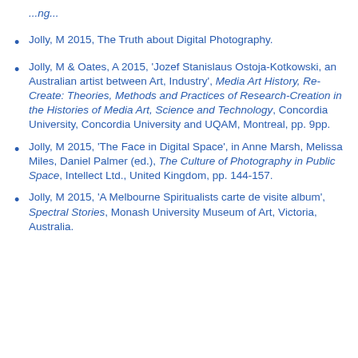Jolly, M 2015, The Truth about Digital Photography.
Jolly, M & Oates, A 2015, 'Jozef Stanislaus Ostoja-Kotkowski, an Australian artist between Art, Industry', Media Art History, Re-Create: Theories, Methods and Practices of Research-Creation in the Histories of Media Art, Science and Technology, Concordia University, Concordia University and UQAM, Montreal, pp. 9pp.
Jolly, M 2015, 'The Face in Digital Space', in Anne Marsh, Melissa Miles, Daniel Palmer (ed.), The Culture of Photography in Public Space, Intellect Ltd., United Kingdom, pp. 144-157.
Jolly, M 2015, 'A Melbourne Spiritualists carte de visite album', Spectral Stories, Monash University Museum of Art, Victoria, Australia.